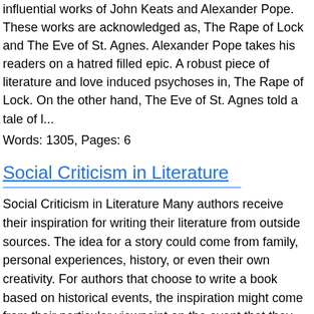influential works of John Keats and Alexander Pope. These works are acknowledged as, The Rape of Lock and The Eve of St. Agnes. Alexander Pope takes his readers on a hatred filled epic. A robust piece of literature and love induced psychoses in, The Rape of Lock. On the other hand, The Eve of St. Agnes told a tale of l...
Words: 1305, Pages: 6
Social Criticism in Literature
Social Criticism in Literature Many authors receive their inspiration for writing their literature from outside sources. The idea for a story could come from family, personal experiences, history, or even their own creativity. For authors that choose to write a book based on historical events, the inspiration might come from their particular viewpoint on the event that they want to dramatize. George Orwell and Charles Dickens wrote Animal Farm and A Tale of Two Cities, respectively, to express